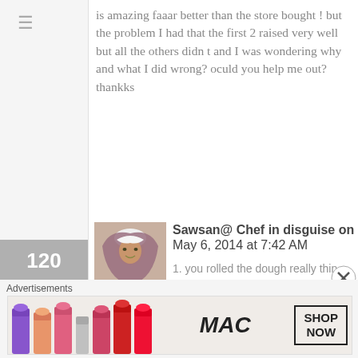is amazing faaar better than the store bought ! but the problem I had that the first 2 raised very well but all the others didn t and I was wondering why and what I did wrong? oculd you help me out? thankks
120
[Figure (photo): Avatar photo of Sawsan, a woman wearing a hijab]
Sawsan@ Chef in disguise on May 6, 2014 at 7:42 AM
Reply
Like
Salam NanouC
So sorry for the delay.
There are a couple of causes for the bread not puffing up:
1. you rolled the dough really thin
Advertisements
[Figure (screenshot): MAC cosmetics advertisement banner with lipsticks and SHOP NOW button]